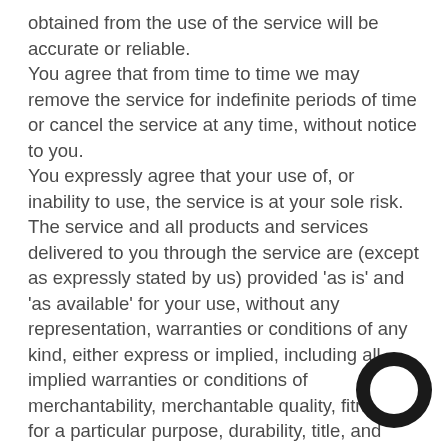obtained from the use of the service will be accurate or reliable. You agree that from time to time we may remove the service for indefinite periods of time or cancel the service at any time, without notice to you. You expressly agree that your use of, or inability to use, the service is at your sole risk. The service and all products and services delivered to you through the service are (except as expressly stated by us) provided 'as is' and 'as available' for your use, without any representation, warranties or conditions of any kind, either express or implied, including all implied warranties or conditions of merchantability, merchantable quality, fitness for a particular purpose, durability, title, and non-infringement. In no case shall BennettBuilt Performance, our directors, officers, employees, affiliates, agents,
[Figure (other): Chat/messaging icon — dark circular ring with hollow center, resembling a letter O or chat bubble ring, positioned at bottom right of page]